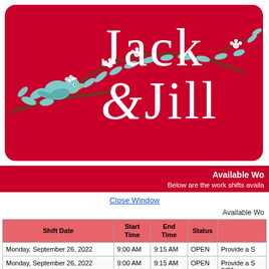[Figure (logo): Jack & Jill logo on crimson red rounded rectangle banner with illustrated bird on cherry blossom branch decoration in teal and white]
Available Wo
Below are the work shifts availa
Close Window
Available Wo
| Shift Date | Start Time | End Time | Status |  |
| --- | --- | --- | --- | --- |
| Monday, September 26, 2022 | 9:00 AM | 9:15 AM | OPEN | Provide a S |
| Monday, September 26, 2022 | 9:00 AM | 9:15 AM | OPEN | Provide a S 9/26 |